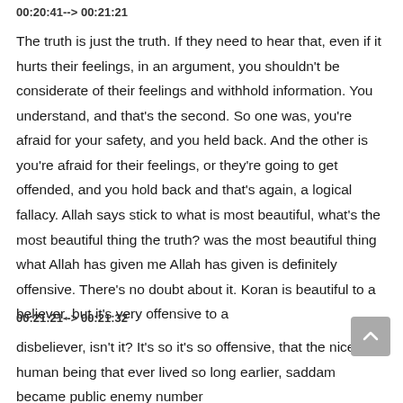00:20:41--> 00:21:21
The truth is just the truth. If they need to hear that, even if it hurts their feelings, in an argument, you shouldn't be considerate of their feelings and withhold information. You understand, and that's the second. So one was, you're afraid for your safety, and you held back. And the other is you're afraid for their feelings, or they're going to get offended, and you hold back and that's again, a logical fallacy. Allah says stick to what is most beautiful, what's the most beautiful thing the truth? was the most beautiful thing what Allah has given me Allah has given is definitely offensive. There's no doubt about it. Koran is beautiful to a believer, but it's very offensive to a
00:21:21--> 00:21:32
disbeliever, isn't it? It's so it's so offensive, that the nicest human being that ever lived so long earlier, saddam became public enemy number